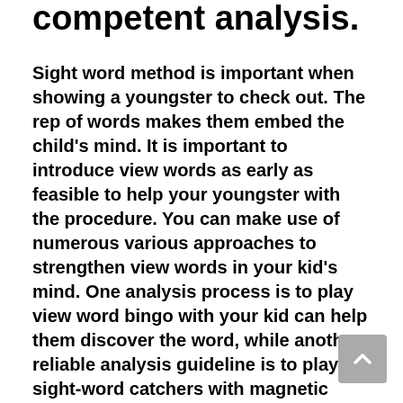competent analysis.
Sight word method is important when showing a youngster to check out. The rep of words makes them embed the child's mind. It is important to introduce view words as early as feasible to help your youngster with the procedure. You can make use of numerous various approaches to strengthen view words in your kid's mind. One analysis process is to play view word bingo with your kid can help them discover the word, while another reliable analysis guideline is to play sight-word catchers with magnetic letters or letter ceramic tiles.